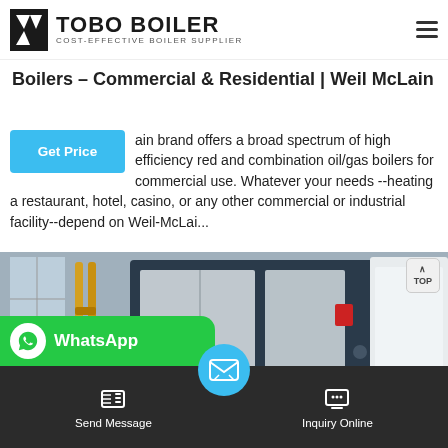TOBO BOILER - COST-EFFECTIVE BOILER SUPPLIER
Boilers – Commercial & Residential | Weil McLain
ain brand offers a broad spectrum of high efficiency red and combination oil/gas boilers for commercial use. Whatever your needs --heating a restaurant, hotel, casino, or any other commercial or industrial facility--depend on Weil-McLai...
[Figure (photo): Industrial boiler unit in a facility, dark blue casing with stainless steel panels, red burner visible at bottom right, yellow piping on left side]
WhatsApp
Send Message
Inquiry Online